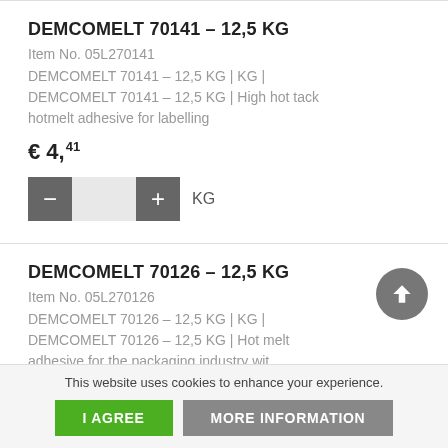DEMCOMELT 70141 - 12,5 KG
Item No. 05L270141
DEMCOMELT 70141 – 12,5 KG | KG | DEMCOMELT 70141 – 12,5 KG | High hot tack hotmelt adhesive for labelling
€ 4,41
DEMCOMELT 70126 - 12,5 KG
Item No. 05L270126
DEMCOMELT 70126 – 12,5 KG | KG | DEMCOMELT 70126 – 12,5 KG | Hot melt adhesive for the packaging industry with thermal stability. White pellets.
This website uses cookies to enhance your experience.